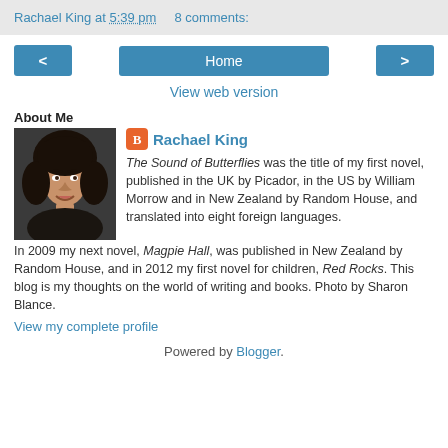Rachael King at 5:39 pm   8 comments:
< Home >
View web version
About Me
[Figure (photo): Portrait photo of Rachael King, a woman with dark hair]
Rachael King - The Sound of Butterflies was the title of my first novel, published in the UK by Picador, in the US by William Morrow and in New Zealand by Random House, and translated into eight foreign languages. In 2009 my next novel, Magpie Hall, was published in New Zealand by Random House, and in 2012 my first novel for children, Red Rocks. This blog is my thoughts on the world of writing and books. Photo by Sharon Blance.
View my complete profile
Powered by Blogger.